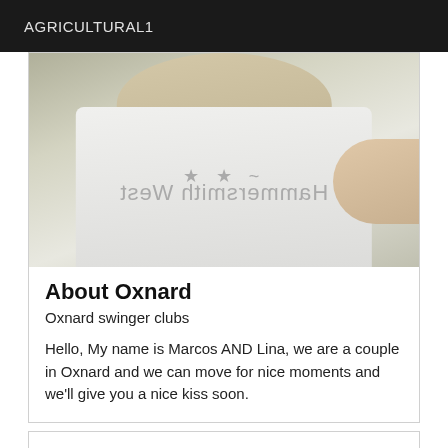AGRICULTURAL1
[Figure (photo): A person wearing a white t-shirt with mirrored/reversed text reading 'Hammersmith West' and stars, wearing a beige cap. A selfie-style photo cropped at the neck/chest area.]
About Oxnard
Oxnard swinger clubs
Hello, My name is Marcos AND Lina, we are a couple in Oxnard and we can move for nice moments and we'll give you a nice kiss soon.